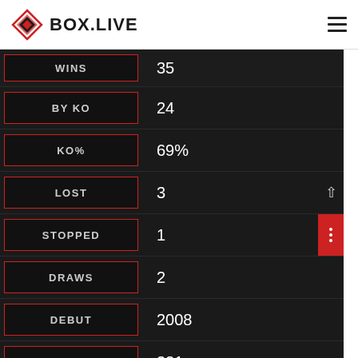BOX.LIVE
| Stat | Value |
| --- | --- |
| WINS | 35 |
| BY KO | 24 |
| KO% | 69% |
| LOST | 3 |
| STOPPED | 1 |
| DRAWS | 2 |
| DEBUT | 2008 |
| PRO RDS | 231 |